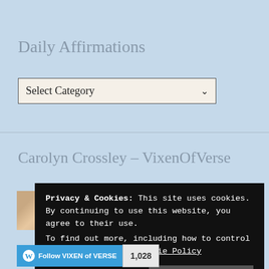Daily Affirmations
[Figure (screenshot): A dropdown select widget with label 'Select Category' and a down-arrow indicator, styled with beige/cream background and dark border]
Carolyn Crossley – VixenOfVerse
[Figure (photo): Small square profile photo/avatar thumbnail]
Privacy & Cookies: This site uses cookies. By continuing to use this website, you agree to their use.
To find out more, including how to control cookies, see here: Cookie Policy
Close and accept
[Figure (screenshot): Follow button bar: blue 'Follow VIXEN of VERSE' button with WordPress logo, and a count badge showing '1,028']